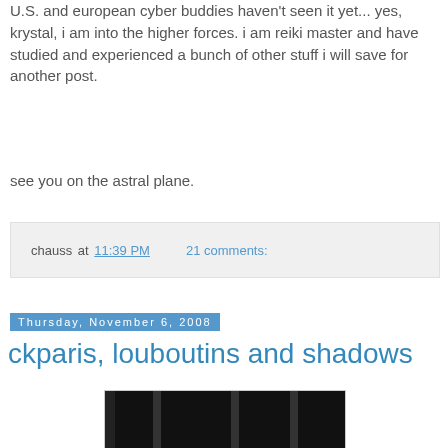U.S. and european cyber buddies haven't seen it yet... yes, krystal, i am into the higher forces. i am reiki master and have studied and experienced a bunch of other stuff i will save for another post.
see you on the astral plane.
chauss at 11:39 PM    21 comments:
Thursday, November 6, 2008
ckparis, louboutins and shadows
[Figure (photo): A silhouetted figure stands at a large window with dark roller blinds partially drawn, overlooking city buildings and a body of water in the background.]